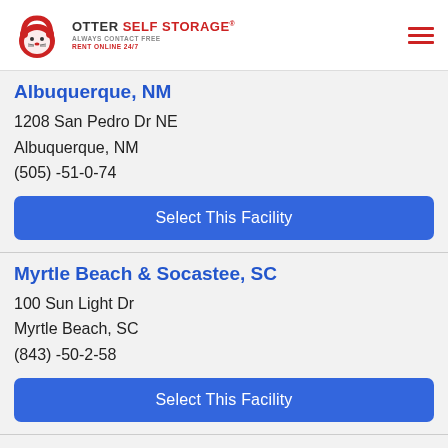[Figure (logo): Otter Self Storage logo with red padlock/otter icon and brand name text]
Albuquerque, NM
1208 San Pedro Dr NE
Albuquerque, NM
(505) -51-0-74
Select This Facility
Myrtle Beach & Socastee, SC
100 Sun Light Dr
Myrtle Beach, SC
(843) -50-2-58
Select This Facility